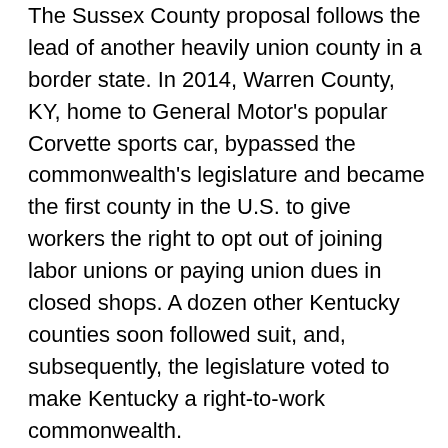The Sussex County proposal follows the lead of another heavily union county in a border state. In 2014, Warren County, KY, home to General Motor's popular Corvette sports car, bypassed the commonwealth's legislature and became the first county in the U.S. to give workers the right to opt out of joining labor unions or paying union dues in closed shops. A dozen other Kentucky counties soon followed suit, and, subsequently, the legislature voted to make Kentucky a right-to-work commonwealth.
The U.S. Court of Appeals for the Sixth Circuit upheld counties' rights to enact right-to-work laws in November 2016. In March of this year, the court declined to revisit the decision following another